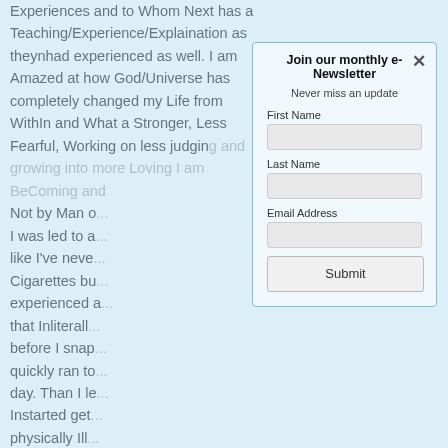Experiences and to Whom Next has a Teaching/Experience/Explaination as theynhad experienced as well. I am Amazed at how God/Universe has completely changed my Life from WithIn and What a Stronger, Less Fearful, Working on less judging and growing into more Loving I am BeComing and Not by Man o I was led to a like I've neve Cigarettes bu experienced a that Inliterall before I snap quickly ran to day. Than I le Instarted get physically Ill about Blocke learned some a Mental nor Breakthrough at times until Holy Spirit Pr that IS a TRU Listen WithIn
[Figure (screenshot): Newsletter signup modal dialog with title 'Join our monthly e-Newsletter', subtitle 'Never miss an update', fields for First Name, Last Name, Email Address, and a Submit button. A close (×) button is in the top right corner.]